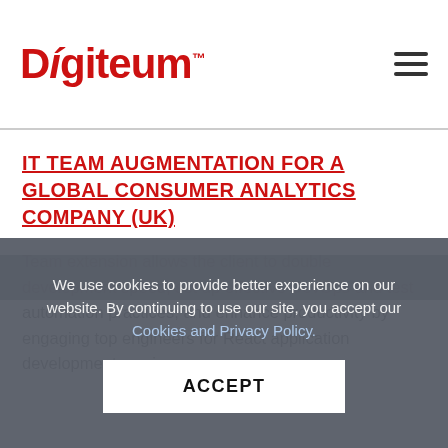Digiteum
IT TEAM AUGMENTATION FOR A GLOBAL CONSUMER ANALYTICS COMPANY (UK)
Team extension allows the client to double development speed, set up effective DevOps and test automation practices, and enhance productivity by engaging top engineers for React application development services.
We use cookies to provide better experience on our website. By continuing to use our site, you accept our Cookies and Privacy Policy.
ACCEPT